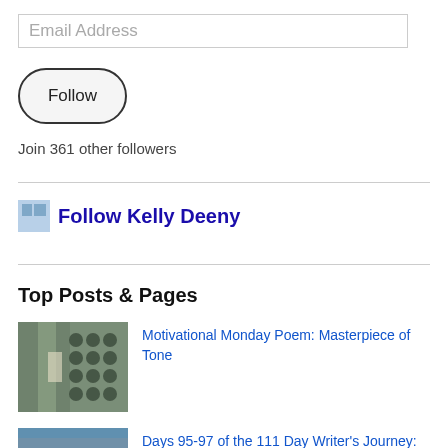Email Address
Follow
Join 361 other followers
Follow Kelly Deeny
Top Posts & Pages
Motivational Monday Poem: Masterpiece of Tone
[Figure (photo): Blurred close-up of a window or door with circular elements]
Days 95-97 of the 111 Day Writer's Journey: Motivational Monday Poem
[Figure (photo): Landscape with orange rocky cliffs and water]